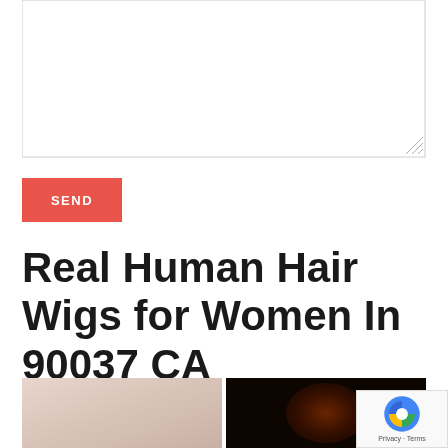[Figure (other): Textarea input field with resize handle at bottom-right corner]
[Figure (other): Red SEND button with white text]
Real Human Hair Wigs for Women In 90037 CA
[Figure (photo): Two thumbnail images side by side: left shows a light-colored close-up (skin/wig), right shows a dark close-up with reddish-brown hair detail]
[Figure (other): reCAPTCHA badge overlay with logo and Privacy/Terms text]